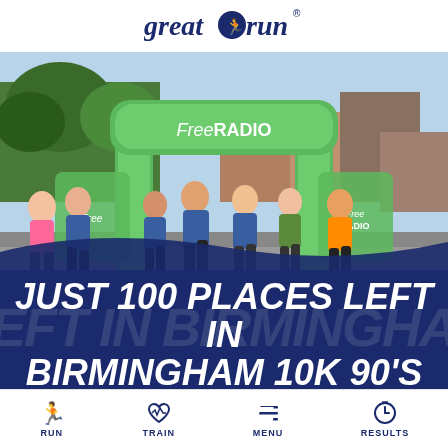[Figure (logo): Great Run logo in navy blue with stylized runner between 'great' and 'run' text]
[Figure (photo): Runners passing under a large green inflatable arch branded 'Free RADIO' at a 10k running event in Birmingham. Crowd of participants in various coloured t-shirts running on a street.]
JUST 100 PLACES LEFT IN BIRMINGHAM 10K 90'S WAVE
RUN  TRAIN  MENU  RESULTS